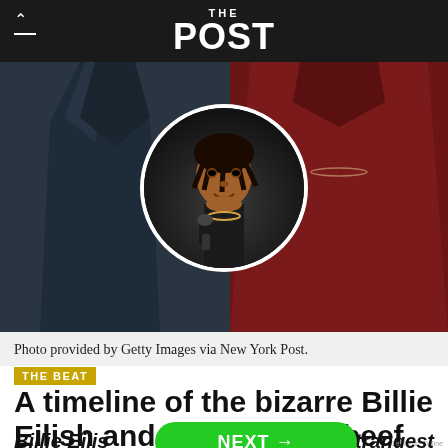THE POST
[Figure (photo): Two people standing side by side (one in navy coat on left, one in dark red jacket on right) with a circular inset portrait of a man performing on stage holding a microphone, wearing a chain necklace and black gloves.]
Photo provided by Getty Images via New York Post.
THE BEAT
A timeline of the bizarre Billie Eilish and Kanye West beef
Billie Eilis... strangest